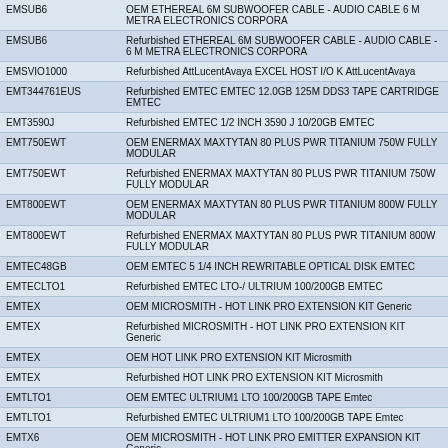| EMSUB6 | OEM ETHEREAL 6M SUBWOOFER CABLE - AUDIO CABLE
6 M METRA ELECTRONICS CORPORA |
| EMSUB6 | Refurbished ETHEREAL 6M SUBWOOFER CABLE - AUDIO CABLE - 6 M METRA ELECTRONICS CORPORA |
| EMSVIO1000 | Refurbished AttLucentAvaya EXCEL HOST I/O K AttLucentAvaya |
| EMT344761EUS | Refurbished EMTEC EMTEC 12.0GB 125M DDS3 TAPE CARTRIDGE EMTEC |
| EMT3590J | Refurbished EMTEC 1/2 INCH 3590 J 10/20GB EMTEC |
| EMT750EWT | OEM ENERMAX MAXTYTAN 80 PLUS PWR TITANIUM 750W FULLY MODULAR |
| EMT750EWT | Refurbished ENERMAX MAXTYTAN 80 PLUS PWR TITANIUM 750W FULLY MODULAR |
| EMT800EWT | OEM ENERMAX MAXTYTAN 80 PLUS PWR TITANIUM 800W FULLY MODULAR |
| EMT800EWT | Refurbished ENERMAX MAXTYTAN 80 PLUS PWR TITANIUM 800W FULLY MODULAR |
| EMTEC48GB | OEM EMTEC 5 1/4 INCH REWRITABLE OPTICAL DISK EMTEC |
| EMTECLTO1 | Refurbished EMTEC LTO-/ ULTRIUM 100/200GB EMTEC |
| EMTEX | OEM MICROSMITH - HOT LINK PRO EXTENSION KIT Generic |
| EMTEX | Refurbished MICROSMITH - HOT LINK PRO EXTENSION KIT Generic |
| EMTEX | OEM HOT LINK PRO EXTENSION KIT Microsmith |
| EMTEX | Refurbished HOT LINK PRO EXTENSION KIT Microsmith |
| EMTLTO1 | OEM EMTEC ULTRIUM1 LTO 100/200GB TAPE Emtec |
| EMTLTO1 | Refurbished EMTEC ULTRIUM1 LTO 100/200GB TAPE Emtec |
| EMTX6 | OEM MICROSMITH - HOT LINK PRO EMITTER EXPANSION KIT Generic |
| EMTX6 | Refurbished MICROSMITH - HOT LINK PRO EMITTER EXPANSION KIT Generic |